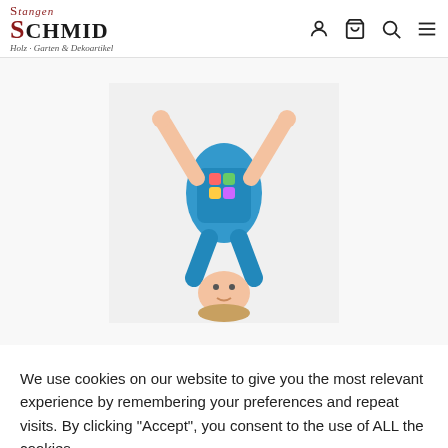Stangen SCHMID - Holz, Garten & Dekoartikel
[Figure (photo): Child doing a gymnastics move on a wooden trapeze bar, upside down, wearing a blue shirt, white background]
Delta Holztrapez
14,95 €
We use cookies on our website to give you the most relevant experience by remembering your preferences and repeat visits. By clicking “Accept”, you consent to the use of ALL the cookies.
Cookie settings  ok